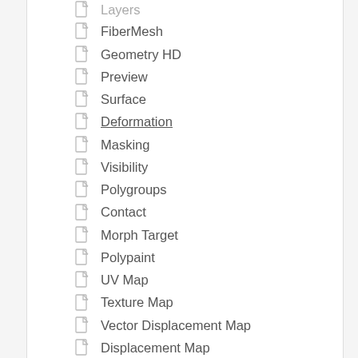Layers
FiberMesh
Geometry HD
Preview
Surface
Deformation
Masking
Visibility
Polygroups
Contact
Morph Target
Polypaint
UV Map
Texture Map
Vector Displacement Map
Displacement Map
Normal Map
Display Properties